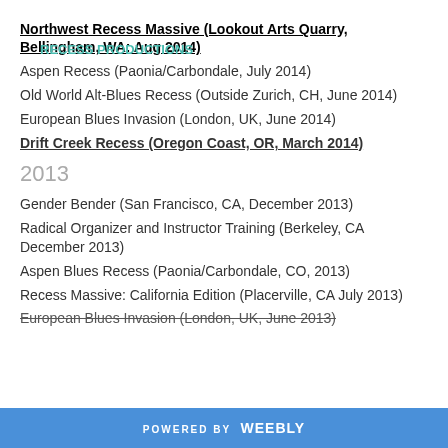Northwest Recess Massive (Lookout Arts Quarry, Bellingham, WA: Aug 2014)
Aspen Recess (Paonia/Carbondale, July 2014)
Old World Alt-Blues Recess (Outside Zurich, CH, June 2014)
European Blues Invasion (London, UK, June 2014)
Drift Creek Recess (Oregon Coast, OR, March 2014)
2013
Gender Bender (San Francisco, CA, December 2013)
Radical Organizer and Instructor Training (Berkeley, CA December 2013)
Aspen Blues Recess (Paonia/Carbondale, CO, 2013)
Recess Massive: California Edition (Placerville, CA July 2013)
European Blues Invasion (London, UK, June 2013)
POWERED BY Weebly